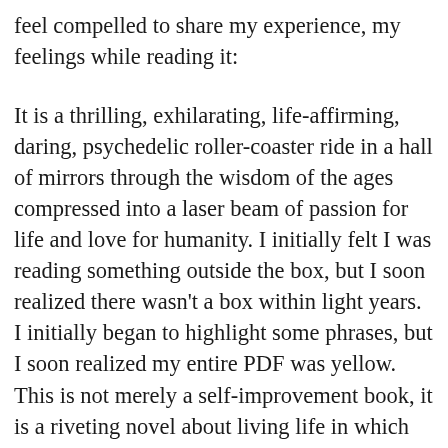feel compelled to share my experience, my feelings while reading it:
It is a thrilling, exhilarating, life-affirming, daring, psychedelic roller-coaster ride in a hall of mirrors through the wisdom of the ages compressed into a laser beam of passion for life and love for humanity. I initially felt I was reading something outside the box, but I soon realized there wasn't a box within light years.
I initially began to highlight some phrases, but I soon realized my entire PDF was yellow.
This is not merely a self-improvement book, it is a riveting novel about living life in which the protagonist—yep, that means you—becomes a